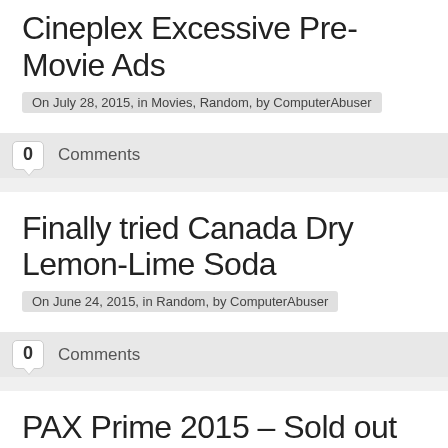Cineplex Excessive Pre-Movie Ads
On July 28, 2015, in Movies, Random, by ComputerAbuser
0  Comments
Finally tried Canada Dry Lemon-Lime Soda
On June 24, 2015, in Random, by ComputerAbuser
0  Comments
PAX Prime 2015 – Sold out in 55 m